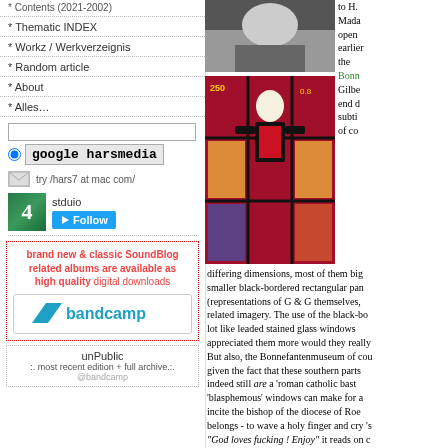Contents (2021-2002)
Thematic INDEX
Workz / Werkverzeignis
Random article
About
Alles…
google harsmedia
try /hars7 at mac com/
stduio Follow
brand new & classic SoundBlog related albums are available as high quality digital downloads
bandcamp
unPublic :. most recent edition + full archive.:. @bandcamp
[Figure (photo): Top photo showing people]
[Figure (photo): Stained glass window artwork with figure in red suit]
to H. Mada open earlier the Bonn Gilbe end d subti of co differing dimensions, most of them big smaller black-bordered rectangular pan (representations of G & G themselves, related imagery. The use of the black-bo lot like leaded stained glass windows appreciated them more would they really But also, the Bonnefantenmuseum of cou given the fact that these southern parts indeed still are a 'roman catholic bast 'blasphemous' windows can make for a incite the bishop of the diocese of Roe belongs - to wave a holy finger and cry 's "God loves fucking ! Enjoy" it reads on c